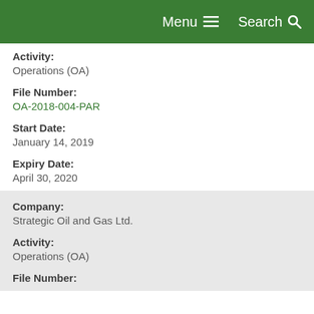Menu  Search
Activity:
Operations (OA)
File Number:
OA-2018-004-PAR
Start Date:
January 14, 2019
Expiry Date:
April 30, 2020
Company:
Strategic Oil and Gas Ltd.
Activity:
Operations (OA)
File Number: